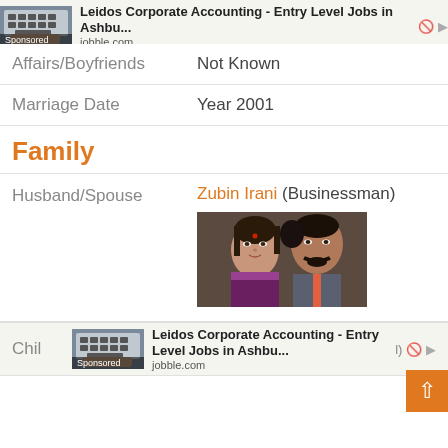[Figure (screenshot): Advertisement banner: Leidos Corporate Accounting - Entry Level Jobs in Ashbu... jobble.com (top)]
| Affairs/Boyfriends | Not Known |
| Marriage Date | Year 2001 |
Family
| Husband/Spouse | Zubin Irani (Businessman) |
[Figure (photo): Photo of Smriti Irani and Zubin Irani together]
[Figure (screenshot): Advertisement banner: Leidos Corporate Accounting - Entry Level Jobs in Ashbu... jobble.com (bottom), partially visible with Children row]